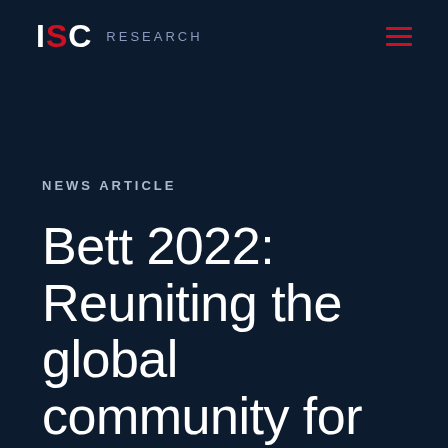ISC RESEARCH
NEWS ARTICLE
Bett 2022: Reuniting the global community for education technology under